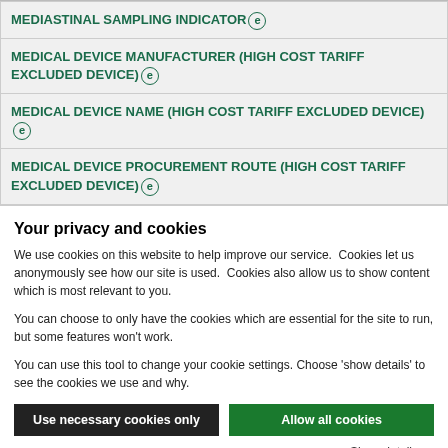| MEDIASTINAL SAMPLING INDICATOR [e] |
| MEDICAL DEVICE MANUFACTURER (HIGH COST TARIFF EXCLUDED DEVICE) [e] |
| MEDICAL DEVICE NAME (HIGH COST TARIFF EXCLUDED DEVICE) [e] |
| MEDICAL DEVICE PROCUREMENT ROUTE (HIGH COST TARIFF EXCLUDED DEVICE) [e] |
Your privacy and cookies
We use cookies on this website to help improve our service.  Cookies let us anonymously see how our site is used.  Cookies also allow us to show content which is most relevant to you.
You can choose to only have the cookies which are essential for the site to run, but some features won't work.
You can use this tool to change your cookie settings. Choose 'show details' to see the cookies we use and why.